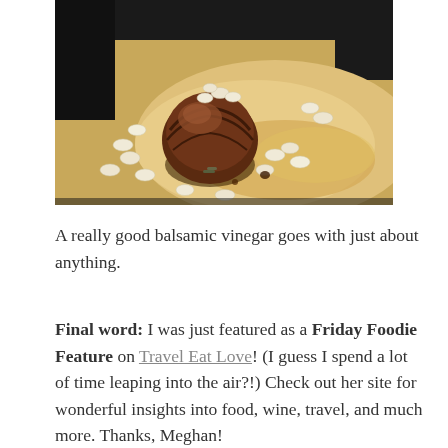[Figure (photo): Close-up photo of a round meat dish (possibly a filet or medallion) wrapped in bacon, surrounded by white beans and golden sauce/broth, served on a white plate.]
A really good balsamic vinegar goes with just about anything.
Final word: I was just featured as a Friday Foodie Feature on Travel Eat Love! (I guess I spend a lot of time leaping into the air?!) Check out her site for wonderful insights into food, wine, travel, and much more. Thanks, Meghan!